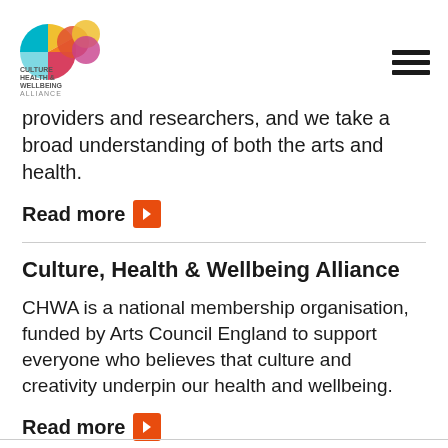[Figure (logo): Culture Health & Wellbeing Alliance logo with colourful circular segments and text]
[Figure (other): Hamburger menu icon (three horizontal lines)]
providers and researchers, and we take a broad understanding of both the arts and health.
Read more
Culture, Health & Wellbeing Alliance
CHWA is a national membership organisation, funded by Arts Council England to support everyone who believes that culture and creativity underpin our health and wellbeing.
Read more